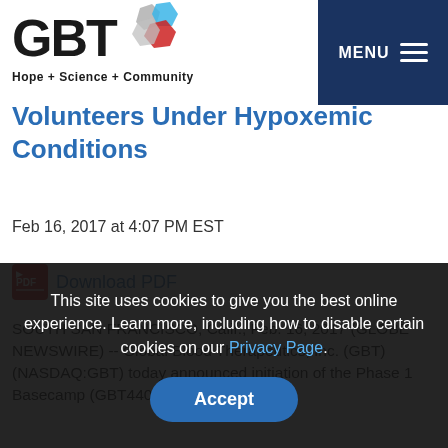GBT Hope + Science + Community | MENU
Volunteers Under Hypoxemic Conditions
Feb 16, 2017 at 4:07 PM EST
Download PDF
SOUTH SAN FRANCISCO, Calif., Feb. 16, 2017 (GLOBE NEWSWIRE) -- Global Blood Therapeutics, Inc. (GBT) (NASDAQ:GBT) today announced initiation of the Phase 1 Basecamp (GBT440-011) clinical trial, which is evaluating the physiologic si... hypoxic conditions and exercise and in maximally stress the function of dis. GBT440 is a hemoglobin modifier that left shifts the
This site uses cookies to give you the best online experience. Learn more, including how to disable certain cookies on our Privacy Page. Accept